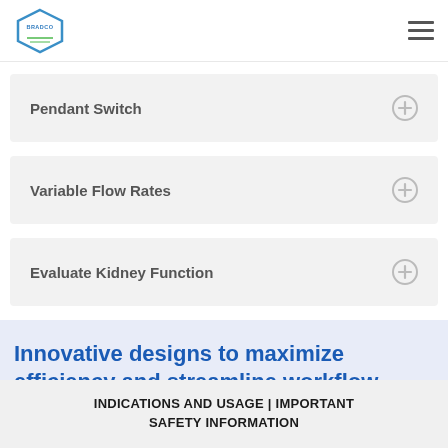Bradco logo and navigation
Pendant Switch
Variable Flow Rates
Evaluate Kidney Function
Innovative designs to maximize efficiency and streamline workflow
INDICATIONS AND USAGE | IMPORTANT SAFETY INFORMATION